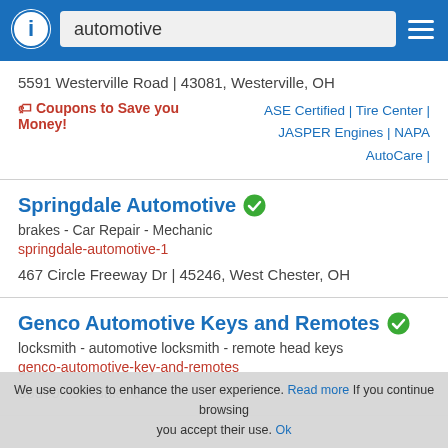automotive
5591 Westerville Road | 43081, Westerville, OH
Coupons to Save you Money! ASE Certified | Tire Center | JASPER Engines | NAPA AutoCare |
Springdale Automotive
brakes - Car Repair - Mechanic
springdale-automotive-1
467 Circle Freeway Dr | 45246, West Chester, OH
Genco Automotive Keys and Remotes
locksmith - automotive locksmith - remote head keys
genco-automotive-key-and-remotes
06370, Oakdale, CT
We use cookies to enhance the user experience. Read more If you continue browsing you accept their use. Ok